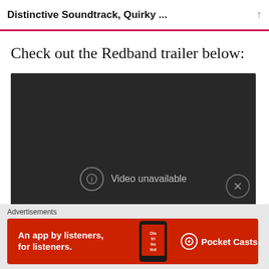Distinctive Soundtrack, Quirky ...
Check out the Redband trailer below:
[Figure (screenshot): Dark video player showing 'Video unavailable' message with a circular info icon and an X close button in the bottom right corner.]
Advertisements
[Figure (infographic): Red advertisement banner for Pocket Casts app reading 'An app by listeners, for listeners.' with a phone image showing the word 'Distributed' and the Pocket Casts logo.]